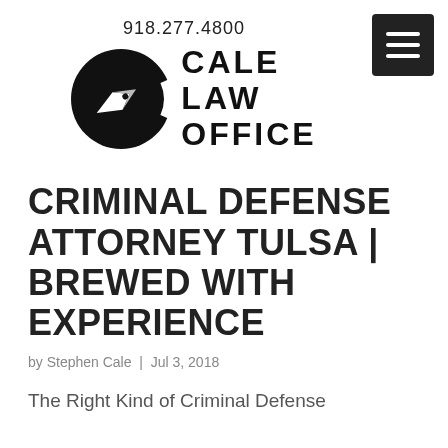918.277.4800
[Figure (logo): Cale Law Office logo: black circle with pen nib arrow inside, next to bold text reading CALE LAW OFFICE]
CRIMINAL DEFENSE ATTORNEY TULSA | BREWED WITH EXPERIENCE
by Stephen Cale | Jul 3, 2018
The Right Kind of Criminal Defense